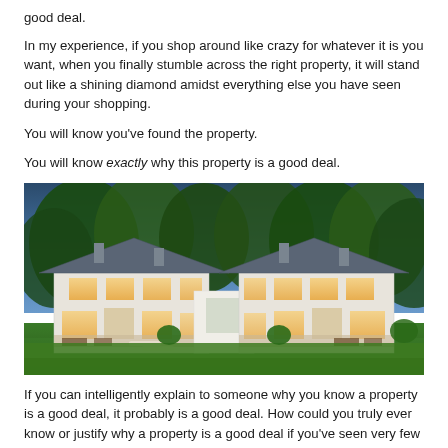good deal.
In my experience, if you shop around like crazy for whatever it is you want, when you finally stumble across the right property, it will stand out like a shining diamond amidst everything else you have seen during your shopping.
You will know you've found the property.
You will know exactly why this property is a good deal.
[Figure (photo): Exterior photo of two symmetrical two-story white houses with grey hip roofs, large windows with warm interior lighting, outdoor patio furniture, set against a backdrop of large green trees under a dusk sky.]
If you can intelligently explain to someone why you know a property is a good deal, it probably is a good deal. How could you truly ever know or justify why a property is a good deal if you've seen very few or no other properties?